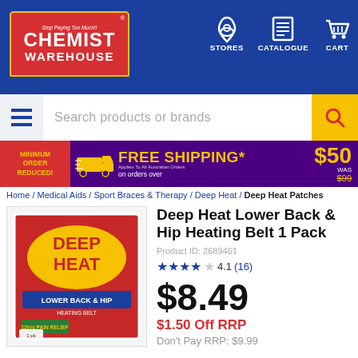[Figure (logo): Chemist Warehouse logo with store navigation icons (Stores, Catalogue, Cart)]
[Figure (screenshot): Search bar with hamburger menu and yellow search button]
[Figure (infographic): Free Shipping banner: Minimum Order Reduced, Free Shipping on orders over $50, Was $99]
Home / Medical Aids / Sport Braces & Therapy / Deep Heat / Deep Heat Patches
[Figure (photo): Deep Heat Lower Back & Hip Heating Belt 1 Pack product image]
Deep Heat Lower Back & Hip Heating Belt 1 Pack
Product ID: 2689461
4.1 (16)
$8.49
$1.50 Off RRP
Don't Pay RRP: $9.99